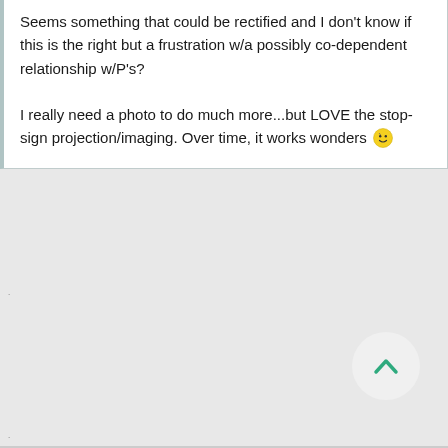Seems something that could be rectified and I don't know if this is the right but a frustration w/a possibly co-dependent relationship w/P's?

I really need a photo to do much more...but LOVE the stop-sign projection/imaging. Over time, it works wonders 🙂
[Figure (other): Back to top button — circular button with a teal upward chevron arrow]